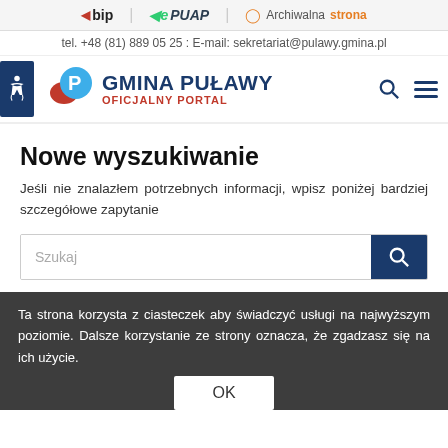bip | ePUAP | Archiwalna strona
tel. +48 (81) 889 05 25 : E-mail: sekretariat@pulawy.gmina.pl
[Figure (logo): Gmina Puławy Oficjalny Portal logo with accessibility icon]
Nowe wyszukiwanie
Jeśli nie znalazłem potrzebnych informacji, wpisz poniżej bardziej szczegółowe zapytanie
[Figure (other): Search input box with Szukaj placeholder and blue search button]
Ta strona korzysta z ciasteczek aby świadczyć usługi na najwyższym poziomie. Dalsze korzystanie ze strony oznacza, że zgadzasz się na ich użycie.
OK